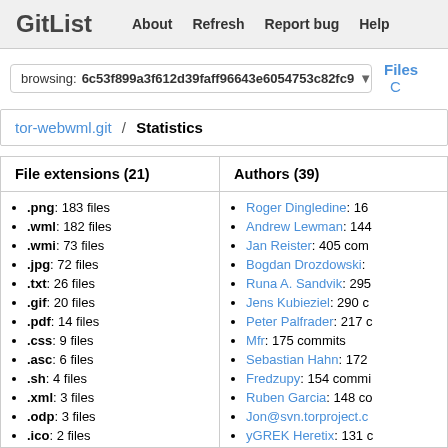GitList   About   Refresh   Report bug   Help
browsing: 6c53f899a3f612d39faff96643e6054753c82fc9
Files
tor-webwml.git / Statistics
| File extensions (21) | Authors (39) |
| --- | --- |
| .png: 183 files | Roger Dingledine: 16... |
| .wml: 182 files | Andrew Lewman: 144... |
| .wmi: 73 files | Jan Reister: 405 comm... |
| .jpg: 72 files | Bogdan Drozdowski: ... |
| .txt: 26 files | Runa A. Sandvik: 295... |
| .gif: 20 files | Jens Kubieziel: 290 c... |
| .pdf: 14 files | Peter Palfrader: 217 c... |
| .css: 9 files | Mfr: 175 commits |
| .asc: 6 files | Sebastian Hahn: 172... |
| .sh: 4 files | Fredzupy: 154 commi... |
| .xml: 3 files | Ruben Garcia: 148 co... |
| .odp: 3 files | Jon@svn.torproject.c... |
| .ico: 2 files | yGREK Heretix: 131 c... |